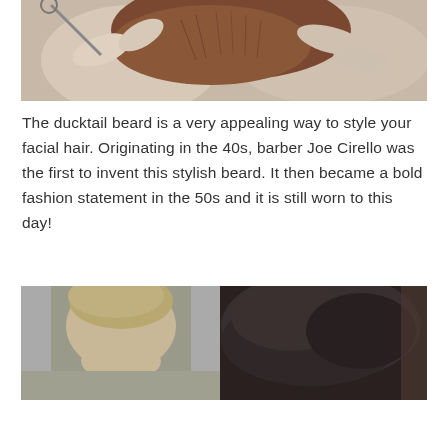[Figure (photo): Close-up photo of hands trimming or styling a beard with scissors, showing fingers holding reddish-brown beard hair]
The ducktail beard is a very appealing way to style your facial hair. Originating in the 40s, barber Joe Cirello was the first to invent this stylish beard. It then became a bold fashion statement in the 50s and it is still worn to this day!
[Figure (photo): Two side-by-side photos: left shows a man with blonde/light hair from behind/side view against a gray background; right shows a close-up of dark textured hair/beard]